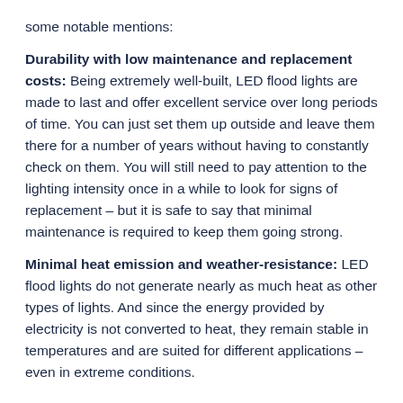some notable mentions:
Durability with low maintenance and replacement costs: Being extremely well-built, LED flood lights are made to last and offer excellent service over long periods of time. You can just set them up outside and leave them there for a number of years without having to constantly check on them. You will still need to pay attention to the lighting intensity once in a while to look for signs of replacement – but it is safe to say that minimal maintenance is required to keep them going strong.
Minimal heat emission and weather-resistance: LED flood lights do not generate nearly as much heat as other types of lights. And since the energy provided by electricity is not converted to heat, they remain stable in temperatures and are suited for different applications – even in extreme conditions.